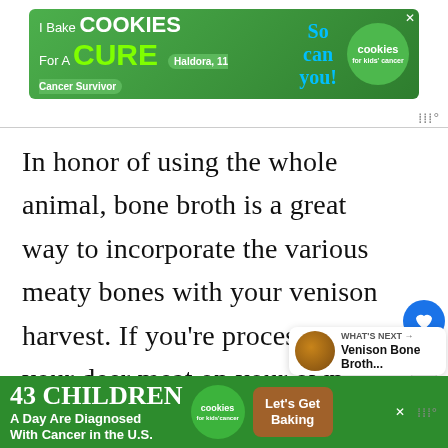[Figure (infographic): Advertisement banner: 'I Bake COOKIES For A CURE – Haldora, 11 Cancer Survivor – So can you! cookies for kids cancer' with a close button]
In honor of using the whole animal, bone broth is a great way to incorporate the various meaty bones with your venison harvest. If you're processing your deer meat on your own, save the various bones by trimming them and freezing them. If you're having a butcher your harvest, be sure to ask them to save th
[Figure (infographic): WHAT'S NEXT → Venison Bone Broth... with food photo thumbnail]
[Figure (infographic): Bottom advertisement: '43 CHILDREN A Day Are Diagnosed With Cancer in the U.S. – cookies for kids cancer – Let's Get Baking' with close button]